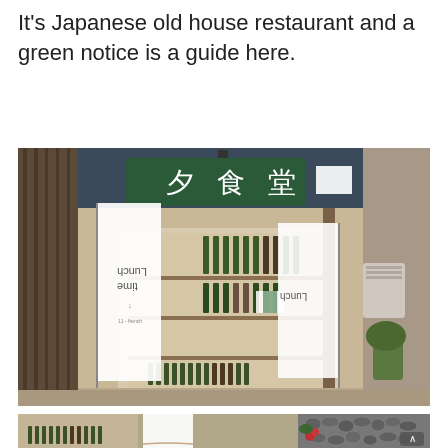It's Japanese old house restaurant and a green notice is a guide here.
[Figure (photo): Exterior of a Japanese old house restaurant with a green sign showing Japanese characters (夕食堂). Two white banner flags with 'Lunch time' text are displayed. The storefront has wooden panels, sliding glass doors, and shelves with wine bottles visible inside.]
[Figure (photo): Close-up photos of the same Japanese restaurant exterior showing the window display with bottles, white banner flag, and an adjacent stone wall with a red flower and green plants. A scroll/navigation arrow button is visible in the bottom right.]